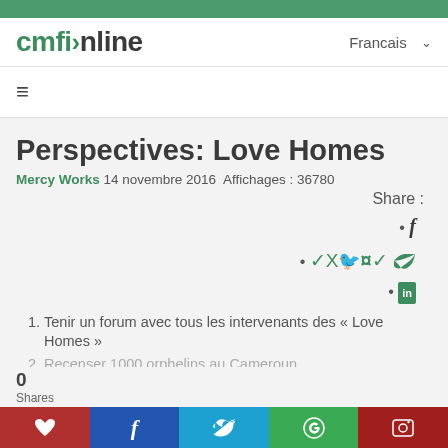cmfi›nline  Francais ˅
≡
Perspectives: Love Homes
Mercy Works 14 novembre 2016 Affichages : 36780
Share :
f
🐦
in
Tenir un forum avec tous les intervenants des « Love Homes »
Recenser 1000 orphelins au Cameroun
0
Shares